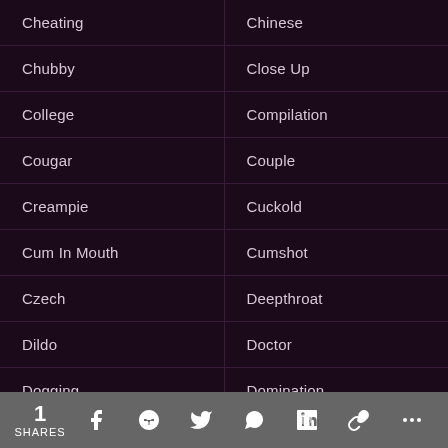Cheating
Chinese
Chubby
Close Up
College
Compilation
Cougar
Couple
Creampie
Cuckold
Cum In Mouth
Cumshot
Czech
Deepthroat
Dildo
Doctor
Dogging
Domination
1 SHARES